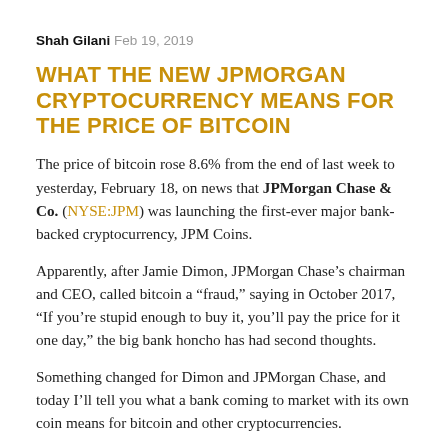Shah Gilani  Feb 19, 2019
WHAT THE NEW JPMORGAN CRYPTOCURRENCY MEANS FOR THE PRICE OF BITCOIN
The price of bitcoin rose 8.6% from the end of last week to yesterday, February 18, on news that JPMorgan Chase & Co. (NYSE:JPM) was launching the first-ever major bank-backed cryptocurrency, JPM Coins.
Apparently, after Jamie Dimon, JPMorgan Chase's chairman and CEO, called bitcoin a “fraud,” saying in October 2017, “If you’re stupid enough to buy it, you’ll pay the price for it one day,” the big bank honcho has had second thoughts.
Something changed for Dimon and JPMorgan Chase, and today I’ll tell you what a bank coming to market with its own coin means for bitcoin and other cryptocurrencies.